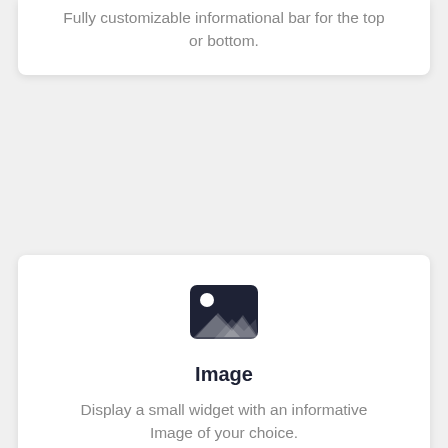Fully customizable informational bar for the top or bottom.
[Figure (illustration): Image icon: dark square icon showing a mountain landscape with a sun/circle]
Image
Display a small widget with an informative Image of your choice.
[Figure (illustration): Inbox/tray icon: dark icon showing an inbox tray]